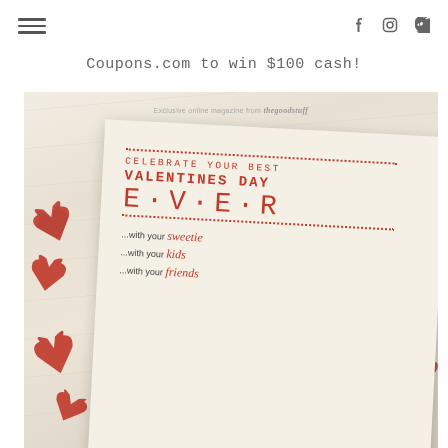☰ [hamburger menu] [facebook] [instagram] [pinterest]
Coupons.com to win $100 cash!
[Figure (photo): Valentine's Day promotional magazine cover image showing a card on a wooden background with red felt hearts. The card reads: 'Exclusive online magazine from thegoodstuff / CELEBRATE YOUR BEST / VALENTINES DAY / E·V·E·R / ...with your sweetie / ...with your kids / ...with your friends']